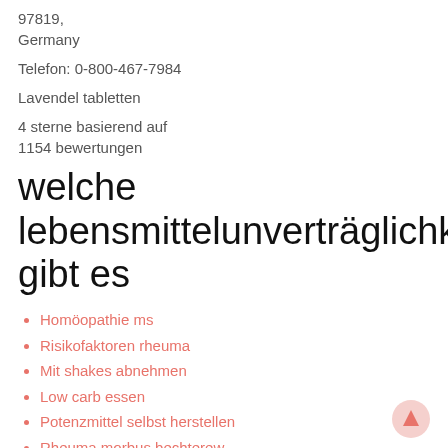97819,
Germany
Telefon: 0-800-467-7984
Lavendel tabletten
4 sterne basierend auf
1154 bewertungen
welche lebensmittelunverträglichkeiten gibt es
Homöopathie ms
Risikofaktoren rheuma
Mit shakes abnehmen
Low carb essen
Potenzmittel selbst herstellen
Rheuma morbus bechterew
Dmso shop apotheke